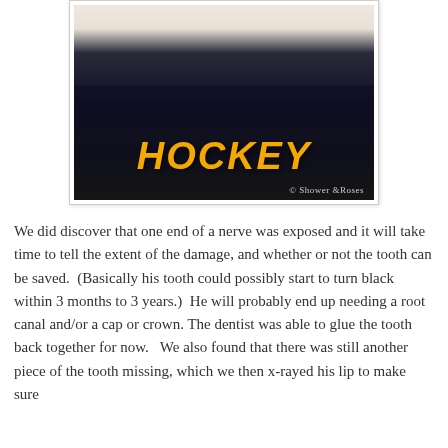[Figure (photo): A young boy wearing a dark navy hockey t-shirt with 'HOCKEY' written in large gold letters. The boy's mouth is open showing a damaged tooth. A watermark reads '© Shower of Roses' in the bottom right corner of the photo.]
We did discover that one end of a nerve was exposed and it will take time to tell the extent of the damage, and whether or not the tooth can be saved.  (Basically his tooth could possibly start to turn black within 3 months to 3 years.)  He will probably end up needing a root canal and/or a cap or crown. The dentist was able to glue the tooth back together for now.   We also found that there was still another piece of the tooth missing, which we then x-rayed his lip to make sure